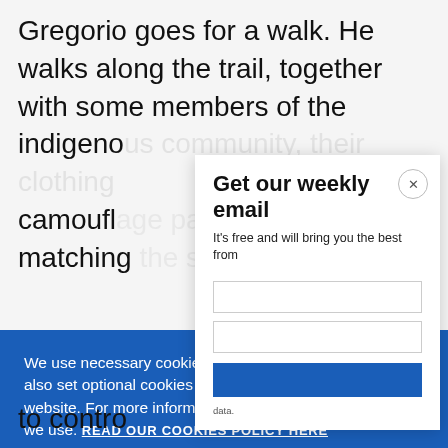Gregorio goes for a walk. He walks along the trail, together with some members of the indigenous [obscured] camouflage [obscured] matching [obscured]
[Figure (screenshot): Email newsletter signup modal overlay with title 'Get our weekly email', subtitle 'It’s free and will bring you the best from', input fields, and a close button]
We use necessary cookies that allow our site to work. We also set optional cookies that help us improve our website. For more information about the types of cookies we use. READ OUR COOKIES POLICY HERE
COOKIE SETTINGS
ALLOW ALL COOKIES
data.
to contro